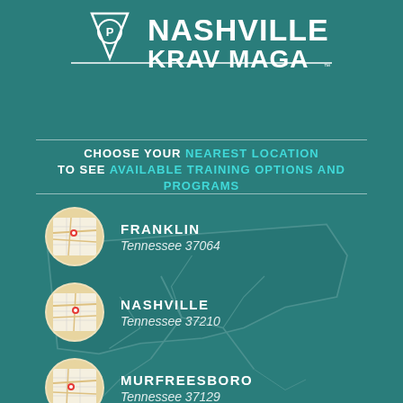[Figure (logo): Nashville Krav Maga logo with triangle/diamond shield icon and bold white text]
CHOOSE YOUR NEAREST LOCATION TO SEE AVAILABLE TRAINING OPTIONS AND PROGRAMS
FRANKLIN
Tennessee 37064
NASHVILLE
Tennessee 37210
MURFREESBORO
Tennessee 37129